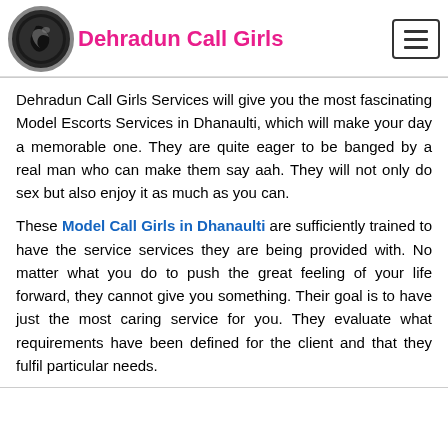Dehradun Call Girls
Dehradun Call Girls Services will give you the most fascinating Model Escorts Services in Dhanaulti, which will make your day a memorable one. They are quite eager to be banged by a real man who can make them say aah. They will not only do sex but also enjoy it as much as you can.
These Model Call Girls in Dhanaulti are sufficiently trained to have the service services they are being provided with. No matter what you do to push the great feeling of your life forward, they cannot give you something. Their goal is to have just the most caring service for you. They evaluate what requirements have been defined for the client and that they fulfil particular needs.